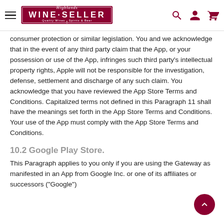Highlands Wine Seller — Quality Wines Spirits & Beer
consumer protection or similar legislation. You and we acknowledge that in the event of any third party claim that the App, or your possession or use of the App, infringes such third party's intellectual property rights, Apple will not be responsible for the investigation, defense, settlement and discharge of any such claim. You acknowledge that you have reviewed the App Store Terms and Conditions. Capitalized terms not defined in this Paragraph 11 shall have the meanings set forth in the App Store Terms and Conditions. Your use of the App must comply with the App Store Terms and Conditions.
10.2 Google Play Store.
This Paragraph applies to you only if you are using the Gateway as manifested in an App from Google Inc. or one of its affiliates or successors ("Google")